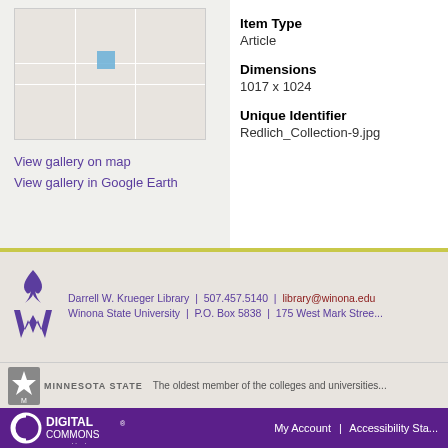[Figure (map): Small map thumbnail showing a location marker (blue square) on a grey street map.]
View gallery on map
View gallery in Google Earth
Item Type
Article
Dimensions
1017 x 1024
Unique Identifier
Redlich_Collection-9.jpg
Darrell W. Krueger Library | 507.457.5140 | library@winona.edu Winona State University | P.O. Box 5838 | 175 West Mark Street
The oldest member of the colleges and universities
My Account | Accessibility Statement